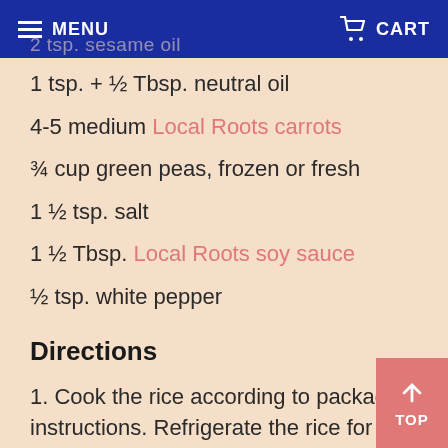MENU  CART
1 tsp. + ½ Tbsp. neutral oil
4-5 medium Local Roots carrots
¾ cup green peas, frozen or fresh
1 ½ tsp. salt
1 ½ Tbsp. Local Roots soy sauce
½ tsp. white pepper
Directions
1. Cook the rice according to package instructions. Refrigerate the rice for at least one hour while you prepare the other ingredients to add l...